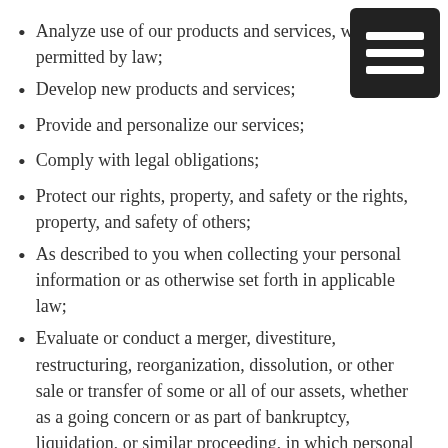Analyze use of our products and services, where permitted by law;
Develop new products and services;
Provide and personalize our services;
Comply with legal obligations;
Protect our rights, property, and safety or the rights, property, and safety of others;
As described to you when collecting your personal information or as otherwise set forth in applicable law;
Evaluate or conduct a merger, divestiture, restructuring, reorganization, dissolution, or other sale or transfer of some or all of our assets, whether as a going concern or as part of bankruptcy, liquidation, or similar proceeding, in which personal information held by us about our